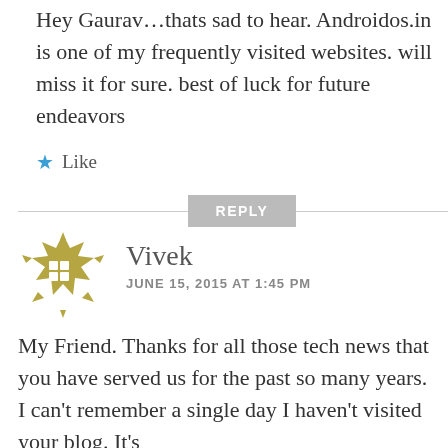Hey Gaurav…thats sad to hear. Androidos.in is one of my frequently visited websites. will miss it for sure. best of luck for future endeavors
★ Like
REPLY
[Figure (illustration): Golden/olive decorative avatar icon with geometric snowflake-like pattern]
Vivek
JUNE 15, 2015 AT 1:45 PM
My Friend. Thanks for all those tech news that you have served us for the past so many years. I can't remember a single day I haven't visited your blog. It's